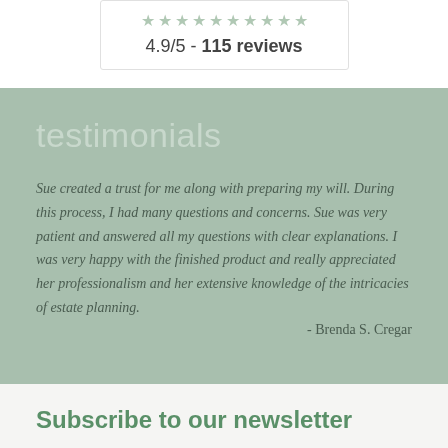[Figure (other): Star rating widget showing approximately 10 stars in muted green color]
4.9/5 - 115 reviews
testimonials
Sue created a trust for me along with preparing my will. During this process, I had many questions and concerns. Sue was very patient and answered all my questions with clear explanations. I was very happy with the finished product and really appreciated her professionalism and her extensive knowledge of the intricacies of estate planning. - Brenda S. Cregar
Subscribe to our newsletter
* indicates required
Email Address *